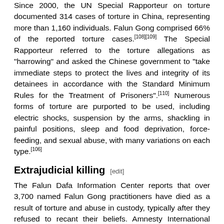Since 2000, the UN Special Rapporteur on torture documented 314 cases of torture in China, representing more than 1,160 individuals. Falun Gong comprised 66% of the reported torture cases.[108][109] The Special Rapporteur referred to the torture allegations as "harrowing" and asked the Chinese government to "take immediate steps to protect the lives and integrity of its detainees in accordance with the Standard Minimum Rules for the Treatment of Prisoners".[110] Numerous forms of torture are purported to be used, including electric shocks, suspension by the arms, shackling in painful positions, sleep and food deprivation, force-feeding, and sexual abuse, with many variations on each type.[106]
Extrajudicial killing [edit]
The Falun Dafa Information Center reports that over 3,700 named Falun Gong practitioners have died as a result of torture and abuse in custody, typically after they refused to recant their beliefs. Amnesty International notes that this figure may be "only a small portion of the actual number of deaths in custody, as many families do not seek legal redress for these deaths or systematically inform overseas sources."[106]